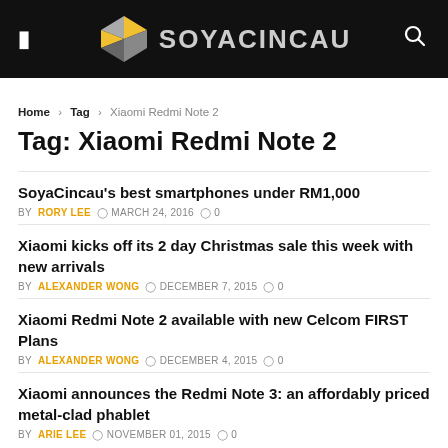[Figure (logo): Soyacincau website header with logo and navigation icons on black background]
Home › Tag › Xiaomi Redmi Note 2
Tag: Xiaomi Redmi Note 2
SoyaCincau's best smartphones under RM1,000
BY RORY LEE  MARCH 24, 2016  0
Xiaomi kicks off its 2 day Christmas sale this week with new arrivals
BY ALEXANDER WONG  DECEMBER 7, 2015  0
Xiaomi Redmi Note 2 available with new Celcom FIRST Plans
BY ALEXANDER WONG  DECEMBER 4, 2015  0
Xiaomi announces the Redmi Note 3: an affordably priced metal-clad phablet
BY ARIE LEE  NOVEMBER 01, 2015  0